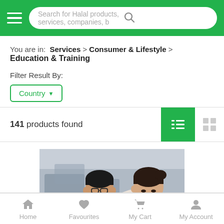Search for Halal products, services, companies, b
You are in:  Services  >  Consumer & Lifestyle  >  Education & Training
Filter Result By:
Country
141 products found
[Figure (photo): Photo of a teacher and student working together at a computer/desk in a classroom setting.]
Home   Favourites   My Cart   My Account